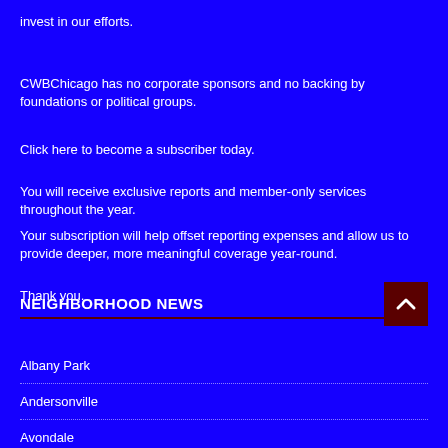invest in our efforts.
CWBChicago has no corporate sponsors and no backing by foundations or political groups.
Click here to become a subscriber today.
You will receive exclusive reports and member-only services throughout the year.
Your subscription will help offset reporting expenses and allow us to provide deeper, more meaningful coverage year-round.
Thank you.
NEIGHBORHOOD NEWS
Albany Park
Andersonville
Avondale